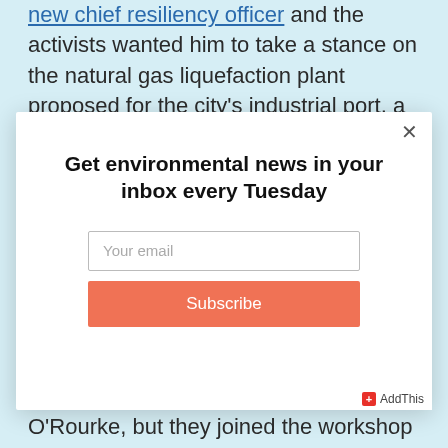new chief resiliency officer and the activists wanted him to take a stance on the natural gas liquefaction plant proposed for the city's industrial port, a
[Figure (screenshot): Modal popup with email newsletter subscription form. Contains title 'Get environmental news in your inbox every Tuesday', an email input field with placeholder 'Your email', and an orange 'Subscribe' button. A close button (×) appears in the top right corner.]
O'Rourke, but they joined the workshop